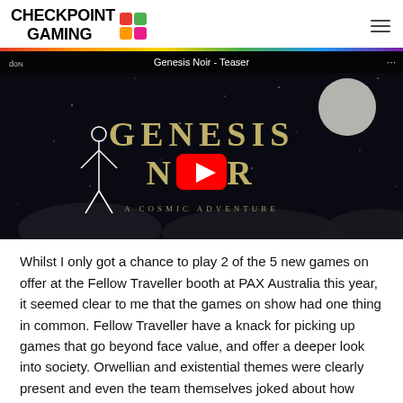Checkpoint Gaming
[Figure (screenshot): YouTube video thumbnail for 'Genesis Noir - Teaser', a cosmic adventure game with dark noir aesthetic showing a suited figure and large golden text, with YouTube play button overlay]
Whilst I only got a chance to play 2 of the 5 new games on offer at the Fellow Traveller booth at PAX Australia this year, it seemed clear to me that the games on show had one thing in common. Fellow Traveller have a knack for picking up games that go beyond face value, and offer a deeper look into society. Orwellian and existential themes were clearly present and even the team themselves joked about how their games seem to be bleak and